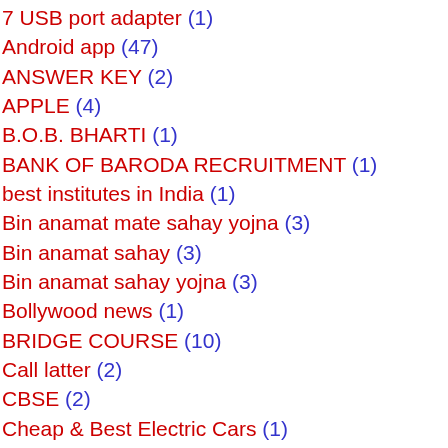7 USB port adapter (1)
Android app (47)
ANSWER KEY (2)
APPLE (4)
B.O.B. BHARTI (1)
BANK OF BARODA RECRUITMENT (1)
best institutes in India (1)
Bin anamat mate sahay yojna (3)
Bin anamat sahay (3)
Bin anamat sahay yojna (3)
Bollywood news (1)
BRIDGE COURSE (10)
Call latter (2)
CBSE (2)
Cheap & Best Electric Cars (1)
Color OS 7 (1)
colour of the jersey of team india (1)
COOLPAD (1)
(21)